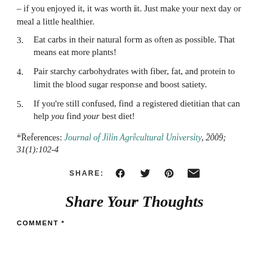– if you enjoyed it, it was worth it. Just make your next day or meal a little healthier.
3. Eat carbs in their natural form as often as possible. That means eat more plants!
4. Pair starchy carbohydrates with fiber, fat, and protein to limit the blood sugar response and boost satiety.
5. If you're still confused, find a registered dietitian that can help you find your best diet!
*References: Journal of Jilin Agricultural University, 2009; 31(1):102-4
SHARE:
Share Your Thoughts
COMMENT *